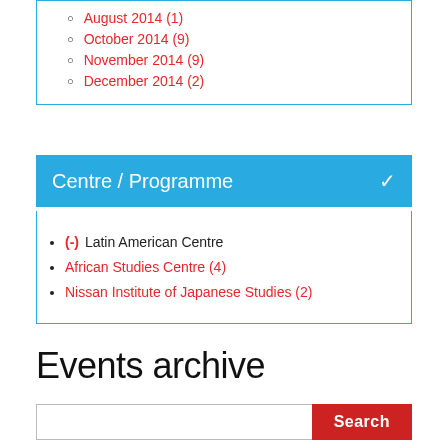August 2014 (1)
October 2014 (9)
November 2014 (9)
December 2014 (2)
Centre / Programme
(-) Latin American Centre
African Studies Centre (4)
Nissan Institute of Japanese Studies (2)
Events archive